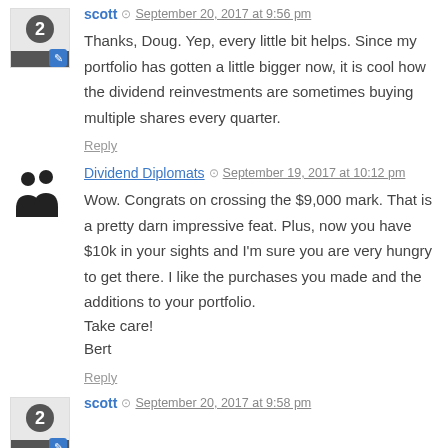scott · September 20, 2017 at 9:56 pm
Thanks, Doug. Yep, every little bit helps. Since my portfolio has gotten a little bigger now, it is cool how the dividend reinvestments are sometimes buying multiple shares every quarter.
Reply
Dividend Diplomats · September 19, 2017 at 10:12 pm
Wow. Congrats on crossing the $9,000 mark. That is a pretty darn impressive feat. Plus, now you have $10k in your sights and I'm sure you are very hungry to get there. I like the purchases you made and the additions to your portfolio.
Take care!
Bert
Reply
scott · September 20, 2017 at 9:58 pm